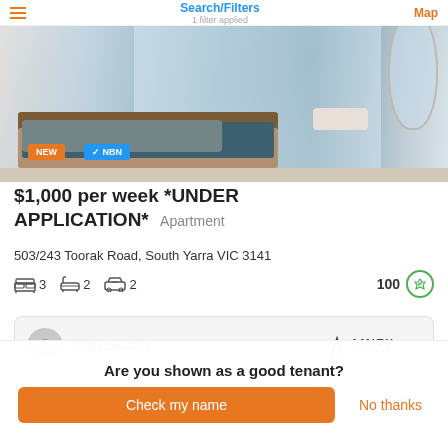Search/Filters | 1 filter applied | Map
[Figure (photo): Bedroom interior of apartment with teal bedding, grey blanket, and city view window. Badges show NEW and NBN.]
$1,000 per week *UNDER APPLICATION*  Apartment
503/243 Toorak Road, South Yarra VIC 3141
3 bedrooms  2 bathrooms  2 car spaces  Walk Score 100
Amity Leasing  AMITY PROPERTY GROUP
Are you shown as a good tenant?
Check my name
No thanks